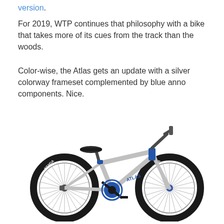version.
For 2019, WTP continues that philosophy with a bike that takes more of its cues from the track than the woods.
Color-wise, the Atlas gets an update with a silver colorway frameset complemented by blue anno components. Nice.
[Figure (photo): A silver BMX bike (Atlas) with blue anodized components including a blue crankset and stem, black Kenda tires, and a black seat, shown in profile view against a white background.]